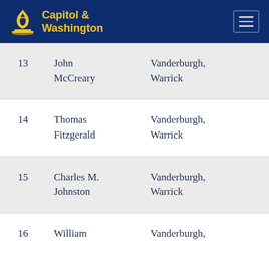Capitol & Washington
| # | Name | Counties |
| --- | --- | --- |
| 13 | John McCreary | Vanderburgh, Warrick |
| 14 | Thomas Fitzgerald | Vanderburgh, Warrick |
| 15 | Charles M. Johnston | Vanderburgh, Warrick |
| 16 | William | Vanderburgh, |